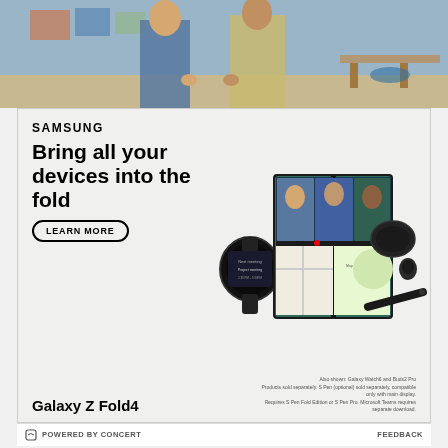[Figure (photo): Top photo strip showing two people standing in a room/classroom setting, cropped at waist/torso level]
[Figure (photo): Samsung Galaxy Z Fold4 advertisement showing the foldable phone open with a video call, alongside a Galaxy Watch6 and Buds2 Pro and S Pen]
SAMSUNG
Bring all your devices into the fold
LEARN MORE
Galaxy Z Fold4
Also shown: Galaxy Watch6 and Buds2 Pro. Products sold separately. S Pen (optional) sold separately, compatible only with main display. Requires S Pen Fold Edition or S Pen Pro. Microsoft Teams requires separate download.
POWERED BY CONCERT   FEEDBACK
14:04 - 26:00: Holy smokes Drinkwitz moved Jalen